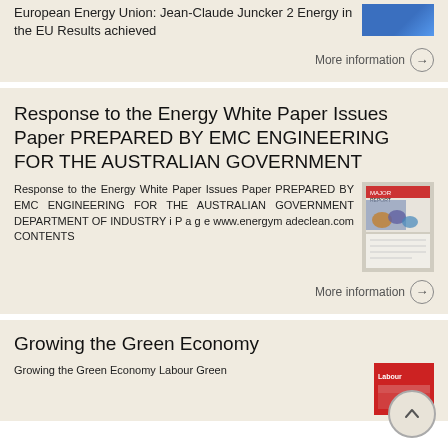European Energy Union: Jean-Claude Juncker 2 Energy in the EU Results achieved
More information →
Response to the Energy White Paper Issues Paper PREPARED BY EMC ENGINEERING FOR THE AUSTRALIAN GOVERNMENT
Response to the Energy White Paper Issues Paper PREPARED BY EMC ENGINEERING FOR THE AUSTRALIAN GOVERNMENT DEPARTMENT OF INDUSTRY i P a g e www.energym adeclean.com CONTENTS
More information →
Growing the Green Economy
Growing the Green Economy Labour Green